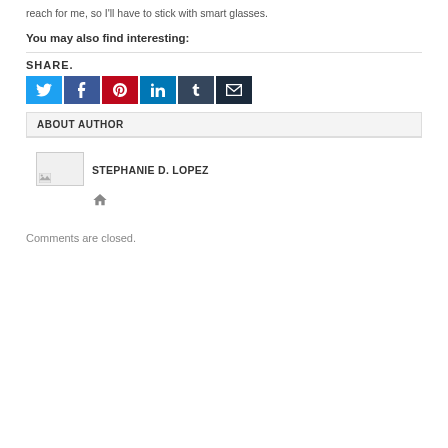reach for me, so I'll have to stick with smart glasses.
You may also find interesting:
SHARE.
[Figure (infographic): Social share buttons: Twitter (blue), Facebook (dark blue), Pinterest (red), LinkedIn (blue), Tumblr (dark navy), Email (dark)]
ABOUT AUTHOR
[Figure (photo): Author photo placeholder with broken image icon]
STEPHANIE D. LOPEZ
[Figure (infographic): Home icon link]
Comments are closed.